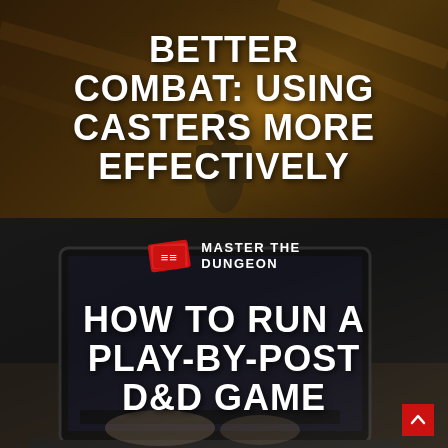[Figure (illustration): Top panel with fantasy/medieval background showing a dark silhouette figure with warm amber and golden lighting, serving as background for article thumbnail]
BETTER COMBAT: USING CASTERS MORE EFFECTIVELY
[Figure (illustration): Bottom panel with dark background showing a laptop being typed on, with a logo and article title overlay]
[Figure (logo): Master the Dungeon logo with red scroll icon and white text]
HOW TO RUN A PLAY-BY-POST D&D GAME